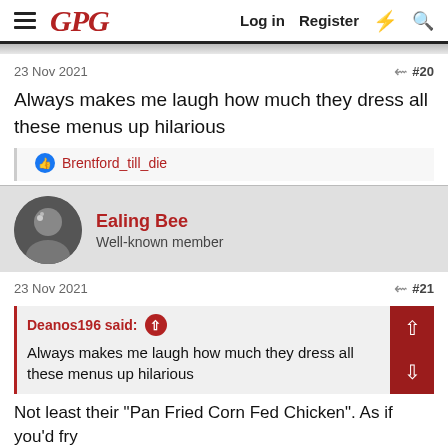GPG | Log in | Register
23 Nov 2021 #20
Always makes me laugh how much they dress all these menus up hilarious
Brentford_till_die
Ealing Bee
Well-known member
23 Nov 2021 #21
Deanos196 said:
Always makes me laugh how much they dress all these menus up hilarious
Not least their "Pan Fried Corn Fed Chicken". As if you'd fry